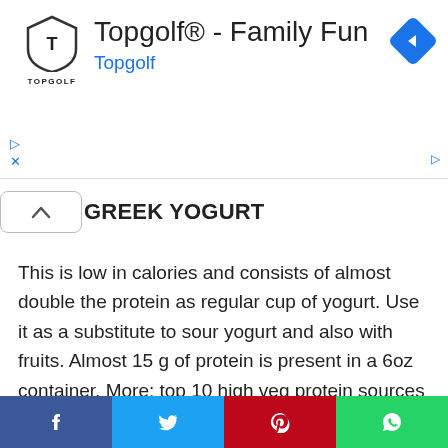[Figure (screenshot): Topgolf advertisement banner with Topgolf shield logo, text 'Topgolf® - Family Fun', blue 'Topgolf' subtitle, and a blue diamond navigation arrow icon on the right. Play and close ad controls on the left.]
GREEK YOGURT
This is low in calories and consists of almost double the protein as regular cup of yogurt. Use it as a substitute to sour yogurt and also with fruits. Almost 15 g of protein is present in a 6oz container. More: top 10 high veg protein sources >>
[Figure (infographic): Social media share bar with Facebook (blue), Twitter (light blue), Pinterest (red), and WhatsApp (green) buttons at the bottom of the page.]